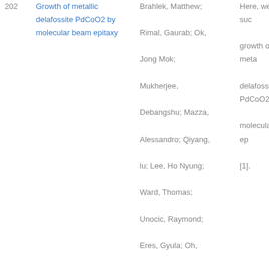| # | Title | Authors | Abstract |
| --- | --- | --- | --- |
| 202 | Growth of metallic delafossite PdCoO2 by molecular beam epitaxy | Brahlek, Matthew; Rimal, Gaurab; Ok, Jong Mok; Mukherjee, Debangshu; Mazza, Alessandro; Qiyang, lu; Lee, Ho Nyung; Ward, Thomas; Unocic, Raymond; Eres, Gyula; Oh, Seongshik | Here, we report suc growth of the meta delafossite PdCoO2 molecular beam ep [1]. |
| 203 | Molecular Modeling of the Adsorption-Induced Expansion of Graphene Oxide Frameworks | Lombardi, Todd; Schaeperkoetter, Joseph; Albesa, Alberto; Wexler, Carlos | We present the resu molecular dynamic based on ab initio m GOFs. |
|  |  |  | Here, based on the principles calculatio |